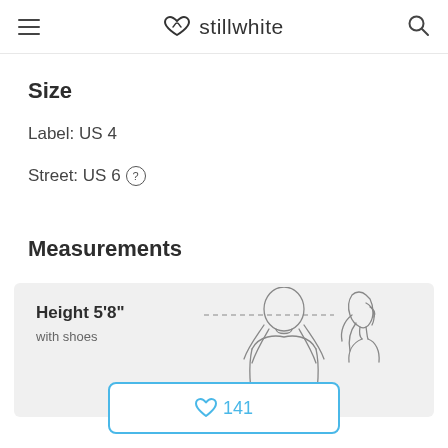stillwhite
Size
Label: US 4
Street: US 6 (?)
Measurements
[Figure (illustration): Measurement diagram showing two female silhouettes (front and side view) with a dashed line indicating height 5'8" with shoes]
141